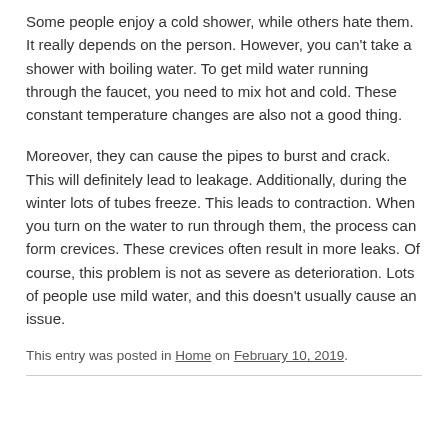Some people enjoy a cold shower, while others hate them. It really depends on the person. However, you can't take a shower with boiling water. To get mild water running through the faucet, you need to mix hot and cold. These constant temperature changes are also not a good thing.
Moreover, they can cause the pipes to burst and crack. This will definitely lead to leakage. Additionally, during the winter lots of tubes freeze. This leads to contraction. When you turn on the water to run through them, the process can form crevices. These crevices often result in more leaks. Of course, this problem is not as severe as deterioration. Lots of people use mild water, and this doesn't usually cause an issue.
This entry was posted in Home on February 10, 2019.